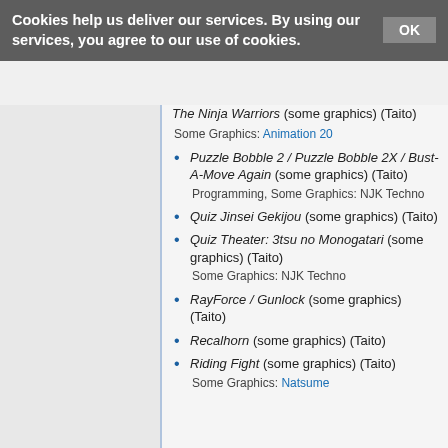Cookies help us deliver our services. By using our services, you agree to our use of cookies. OK
The Ninja Warriors (some graphics) (Taito)
Some Graphics: Animation 20
Puzzle Bobble 2 / Puzzle Bobble 2X / Bust-A-Move Again (some graphics) (Taito)
Programming, Some Graphics: NJK Techno
Quiz Jinsei Gekijou (some graphics) (Taito)
Quiz Theater: 3tsu no Monogatari (some graphics) (Taito)
Some Graphics: NJK Techno
RayForce / Gunlock (some graphics) (Taito)
Recalhorn (some graphics) (Taito)
Riding Fight (some graphics) (Taito)
Some Graphics: Natsume